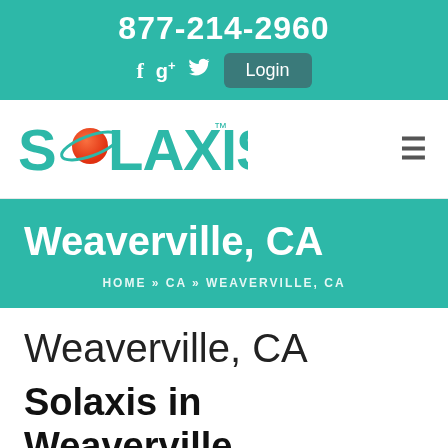877-214-2960
f  g+  ♥  Login
[Figure (logo): Solaxis logo with orange planet/orbit graphic and teal text reading SOLAXIS with trademark symbol]
Weaverville, CA
HOME » CA » WEAVERVILLE, CA
Weaverville, CA
Solaxis in Weaverville, CA